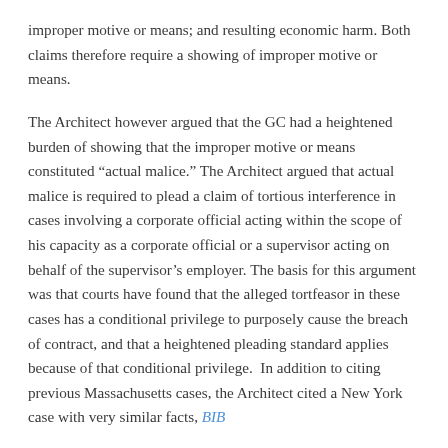improper motive or means; and resulting economic harm. Both claims therefore require a showing of improper motive or means.
The Architect however argued that the GC had a heightened burden of showing that the improper motive or means constituted “actual malice.” The Architect argued that actual malice is required to plead a claim of tortious interference in cases involving a corporate official acting within the scope of his capacity as a corporate official or a supervisor acting on behalf of the supervisor’s employer. The basis for this argument was that courts have found that the alleged tortfeasor in these cases has a conditional privilege to purposely cause the breach of contract, and that a heightened pleading standard applies because of that conditional privilege.  In addition to citing previous Massachusetts cases, the Architect cited a New York case with very similar facts, BIB